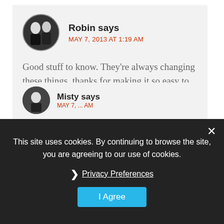Robin says
MAY 7, 2013 AT 1:19 AM
Good stuff to know. They're always changing these things, thanks for making it so easy to understand for us 🙂
Reply
Misty says
MAY 7, ... AM
This site uses cookies. By continuing to browse the site, you are agreeing to our use of cookies.
Privacy Preferences
I Agree